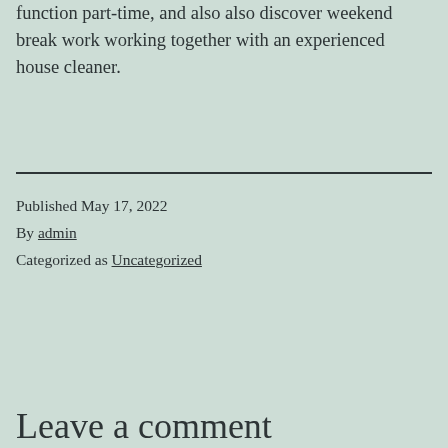function part-time, and also also discover weekend break work working together with an experienced house cleaner.
Published May 17, 2022
By admin
Categorized as Uncategorized
Leave a comment